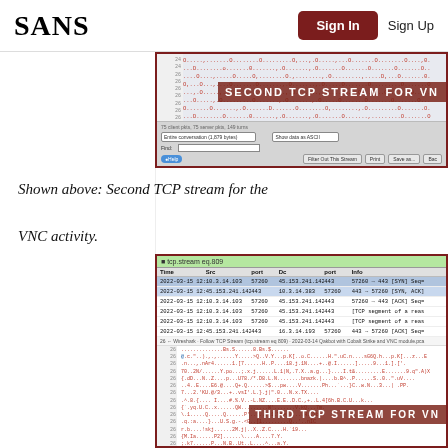SANS | Sign In | Sign Up
[Figure (screenshot): Wireshark Follow TCP Stream dialog showing second TCP stream for VNC activity, with hex/ASCII data and toolbar buttons including Help, Filter Out This Stream, Print, Save as, Back]
Shown above:  Second TCP stream for the VNC activity.
[Figure (screenshot): Wireshark packet list filtered by tcp.stream eq 809, showing packets from 2022-03-15 12:53:42 between 10.3.14.103:57260 and 45.153.241.142:443, followed by Follow TCP Stream hex data and overlay text 'THIRD TCP STREAM FOR VN']